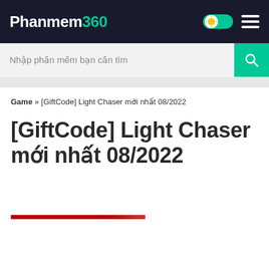Phanmem360
Nhập phần mềm bạn cần tìm
Game » [GiftCode] Light Chaser mới nhất 08/2022
[GiftCode] Light Chaser mới nhất 08/2022